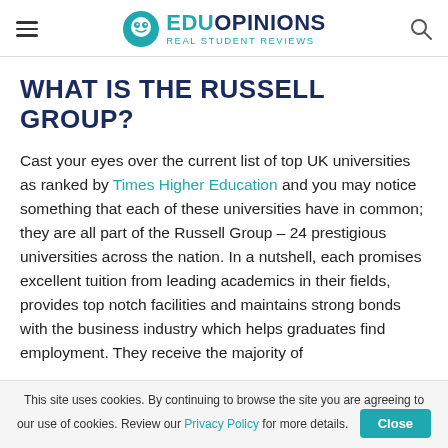EDUOPINIONS Real Student Reviews
WHAT IS THE RUSSELL GROUP?
Cast your eyes over the current list of top UK universities as ranked by Times Higher Education and you may notice something that each of these universities have in common; they are all part of the Russell Group – 24 prestigious universities across the nation. In a nutshell, each promises excellent tuition from leading academics in their fields, provides top notch facilities and maintains strong bonds with the business industry which helps graduates find employment. They receive the majority of the research funding in the United Kingdom. Due to this
This site uses cookies. By continuing to browse the site you are agreeing to our use of cookies. Review our Privacy Policy for more details. Close